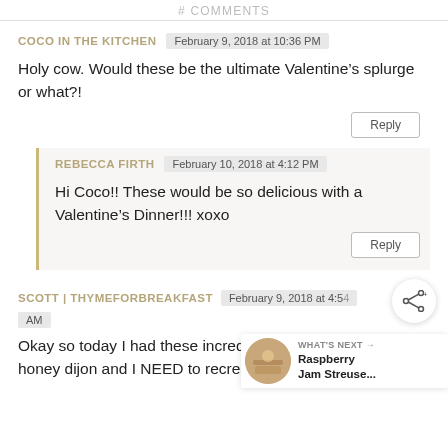# COMMENTS
COCO IN THE KITCHEN  February 9, 2018 at 10:36 PM
Holy cow. Would these be the ultimate Valentine's splurge or what?!
Reply
REBECCA FIRTH  February 10, 2018 at 4:12 PM
Hi Coco!! These would be so delicious with a Valentine's Dinner!!! xoxo
Reply
SCOTT | THYMEFORBREAKFAST  February 9, 2018 at 4:54 AM
Okay so today I had these incredible dough bites with honey dijon and I NEED to recreate them. I